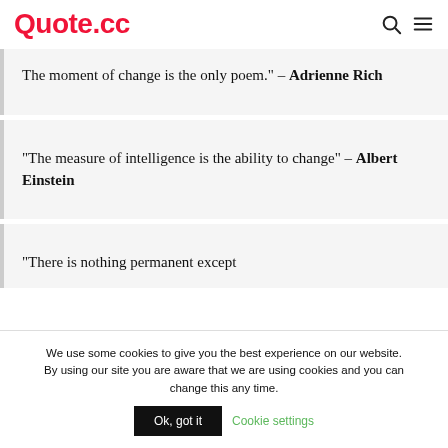Quote.cc
“The moment of change is the only poem.” – Adrienne Rich
“The measure of intelligence is the ability to change” – Albert Einstein
“There is nothing permanent except
We use some cookies to give you the best experience on our website. By using our site you are aware that we are using cookies and you can change this any time.